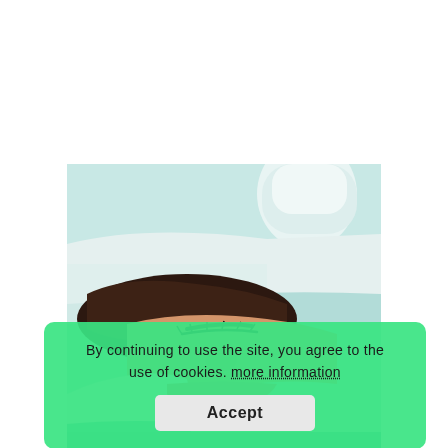[Figure (photo): A woman lying down with eyes closed, receiving a cosmetic injection near her lips from a gloved hand holding a syringe. The background shows a clinical/spa setting with teal/mint tones and white draping.]
By continuing to use the site, you agree to the use of cookies. more information